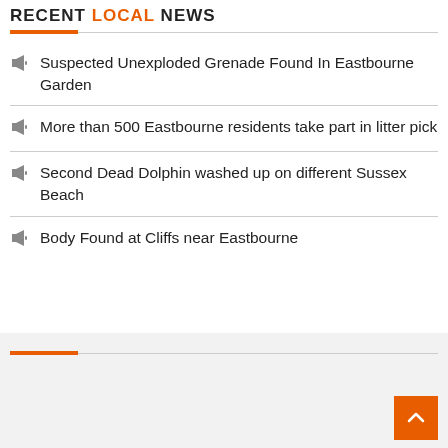RECENT LOCAL NEWS
Suspected Unexploded Grenade Found In Eastbourne Garden
More than 500 Eastbourne residents take part in litter pick
Second Dead Dolphin washed up on different Sussex Beach
Body Found at Cliffs near Eastbourne